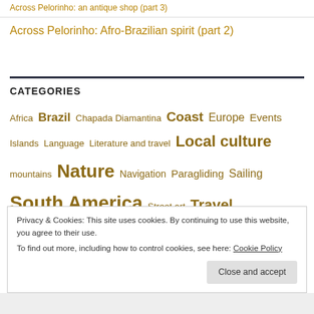Across Pelorinho: an antique shop (part 3)
Across Pelorinho: Afro-Brazilian spirit (part 2)
CATEGORIES
Africa  Brazil  Chapada Diamantina  Coast  Europe  Events  Islands  Language  Literature and travel  Local culture  mountains  Nature  Navigation  Paragliding  Sailing  South America  Street art  Travel  Uncategorized
Privacy & Cookies: This site uses cookies. By continuing to use this website, you agree to their use.
To find out more, including how to control cookies, see here: Cookie Policy
Close and accept